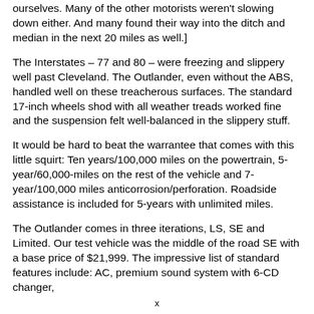ourselves. Many of the other motorists weren't slowing down either. And many found their way into the ditch and median in the next 20 miles as well.]
The Interstates – 77 and 80 – were freezing and slippery well past Cleveland. The Outlander, even without the ABS, handled well on these treacherous surfaces. The standard 17-inch wheels shod with all weather treads worked fine and the suspension felt well-balanced in the slippery stuff.
It would be hard to beat the warrantee that comes with this little squirt: Ten years/100,000 miles on the powertrain, 5-year/60,000-miles on the rest of the vehicle and 7-year/100,000 miles anticorrosion/perforation. Roadside assistance is included for 5-years with unlimited miles.
The Outlander comes in three iterations, LS, SE and Limited. Our test vehicle was the middle of the road SE with a base price of $21,999. The impressive list of standard features include: AC, premium sound system with 6-CD changer,
x